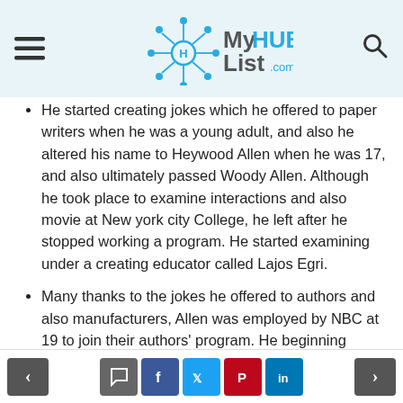MyHUB List.com
He started creating jokes which he offered to paper writers when he was a young adult, and also he altered his name to Heywood Allen when he was 17, and also ultimately passed Woody Allen. Although he took place to examine interactions and also movie at New york city College, he left after he stopped working a program. He started examining under a creating educator called Lajos Egri.
Many thanks to the jokes he offered to authors and also manufacturers, Allen was employed by NBC at 19 to join their authors' program. He beginning manuscripts for The Tonight Program, Caesar's Hr, Honest Video Camera, and also The Ed Sullivan Program. He went
< [comment] [f] [tweet] [pinterest] [in] >